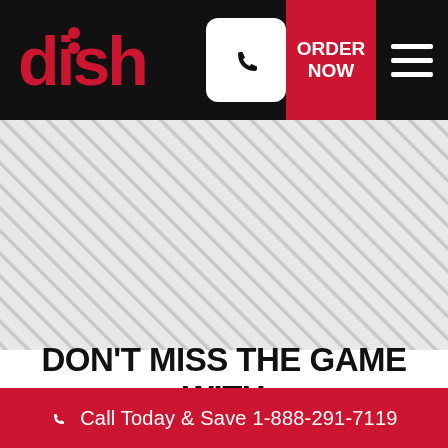[Figure (logo): DISH Network logo in red on black background header with phone icon, ORDER NOW red button, and hamburger menu]
[Figure (illustration): Diagonal striped background pattern in grey and white]
DON'T MISS THE GAME WITH
Call Today & Save 1-888-291-7119